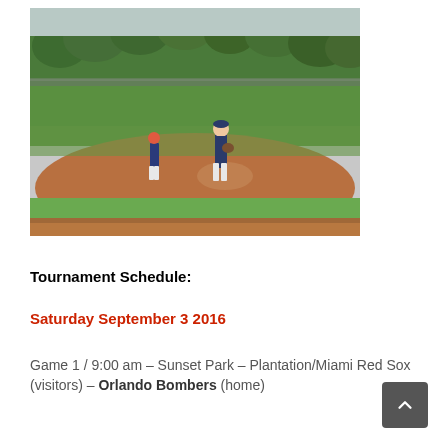[Figure (photo): Outdoor baseball field with a pitcher standing on the mound and another player in the background. Trees and chain-link fence visible behind the outfield. Red dirt infield with green grass.]
Tournament Schedule:
Saturday September 3 2016
Game 1 / 9:00 am – Sunset Park – Plantation/Miami Red Sox (visitors) – Orlando Bombers (home)